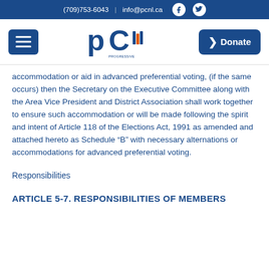(709)753-6043  |  info@pcnl.ca
[Figure (logo): Progressive Conservative Party of Newfoundland and Labrador logo with menu button and Donate button]
accommodation or aid in advanced preferential voting, (if the same occurs) then the Secretary on the Executive Committee along with the Area Vice President and District Association shall work together to ensure such accommodation or will be made following the spirit and intent of Article 118 of the Elections Act, 1991 as amended and attached hereto as Schedule “B” with necessary alternations or accommodations for advanced preferential voting.
Responsibilities
ARTICLE 5-7. RESPONSIBILITIES OF MEMBERS